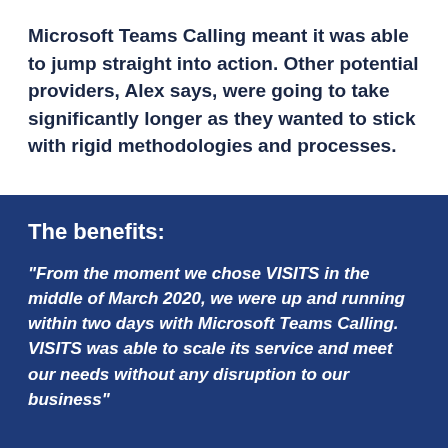Microsoft Teams Calling meant it was able to jump straight into action. Other potential providers, Alex says, were going to take significantly longer as they wanted to stick with rigid methodologies and processes.
The benefits:
"From the moment we chose VISITS in the middle of March 2020, we were up and running within two days with Microsoft Teams Calling. VISITS was able to scale its service and meet our needs without any disruption to our business"